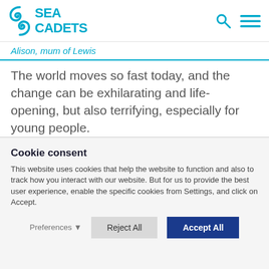SEA CADETS
Alison, mum of Lewis
The world moves so fast today, and the change can be exhilarating and life-opening, but also terrifying, especially for young people.
Cookie consent
This website uses cookies that help the website to function and also to track how you interact with our website. But for us to provide the best user experience, enable the specific cookies from Settings, and click on Accept.